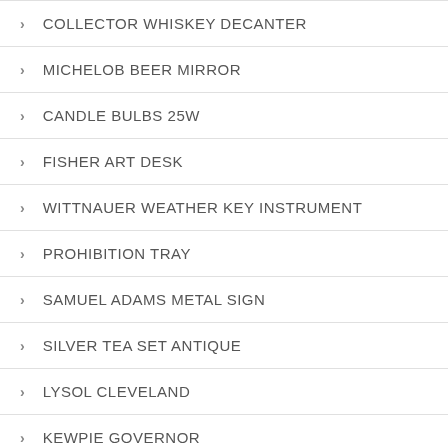COLLECTOR WHISKEY DECANTER
MICHELOB BEER MIRROR
CANDLE BULBS 25W
FISHER ART DESK
WITTNAUER WEATHER KEY INSTRUMENT
PROHIBITION TRAY
SAMUEL ADAMS METAL SIGN
SILVER TEA SET ANTIQUE
LYSOL CLEVELAND
KEWPIE GOVERNOR